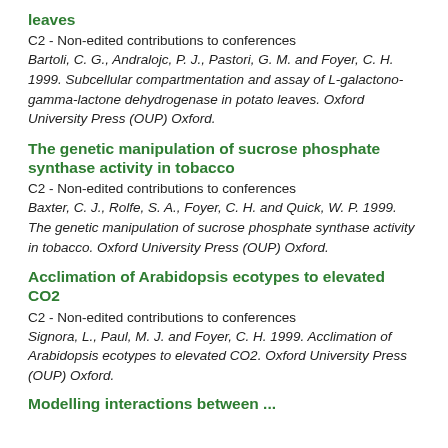leaves
C2 - Non-edited contributions to conferences
Bartoli, C. G., Andralojc, P. J., Pastori, G. M. and Foyer, C. H. 1999. Subcellular compartmentation and assay of L-galactono-gamma-lactone dehydrogenase in potato leaves. Oxford University Press (OUP) Oxford.
The genetic manipulation of sucrose phosphate synthase activity in tobacco
C2 - Non-edited contributions to conferences
Baxter, C. J., Rolfe, S. A., Foyer, C. H. and Quick, W. P. 1999. The genetic manipulation of sucrose phosphate synthase activity in tobacco. Oxford University Press (OUP) Oxford.
Acclimation of Arabidopsis ecotypes to elevated CO2
C2 - Non-edited contributions to conferences
Signora, L., Paul, M. J. and Foyer, C. H. 1999. Acclimation of Arabidopsis ecotypes to elevated CO2. Oxford University Press (OUP) Oxford.
Modelling interactions between...